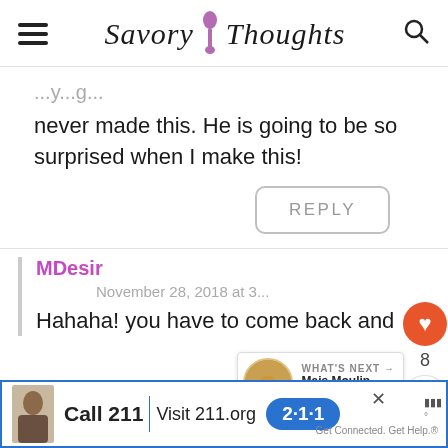Savory Thoughts
never made this. He is going to be so surprised when I make this!
REPLY
8
MDesir
November 28, 2018 at 3...
Hahaha! you have to come back and
[Figure (infographic): What's Next: Mais Moulin Ak Zepina promo box with food image]
[Figure (infographic): Advertisement bar: Call 211 Visit 211.org with 2-1-1 badge and person photo]